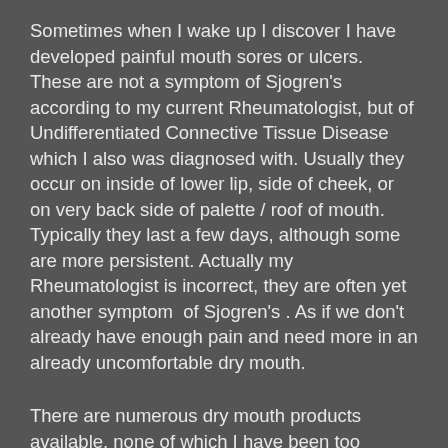Sometimes when I wake up I discover I have developed painful mouth sores or ulcers. These are not a symptom of Sjogren's according to my current Rheumatologist, but of Undifferentiated Connective Tissue Disease which I also was diagnosed with. Usually they occur on inside of lower lip, side of cheek, or on very back side of palette / roof of mouth. Typically they last a few days, although some are more persistent. Actually my Rheumatologist is incorrect, they are often yet another symptom of Sjogren's . As if we don't already have enough pain and need more in an already uncomfortable dry mouth.
There are numerous dry mouth products available, none of which I have been too enthused about. Every mouth is different and each patient needs to try out the myriad of products to see which suits them best. There are